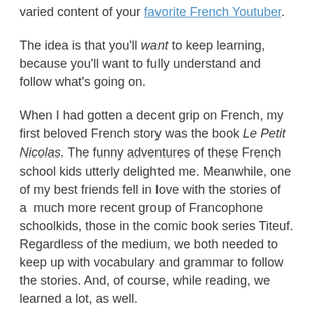varied content of your favorite French Youtuber.
The idea is that you'll want to keep learning, because you'll want to fully understand and follow what's going on.
When I had gotten a decent grip on French, my first beloved French story was the book Le Petit Nicolas. The funny adventures of these French school kids utterly delighted me. Meanwhile, one of my best friends fell in love with the stories of a  much more recent group of Francophone schoolkids, those in the comic book series Titeuf. Regardless of the medium, we both needed to keep up with vocabulary and grammar to follow the stories. And, of course, while reading, we learned a lot, as well.
You don't have to stick with the same story. As my